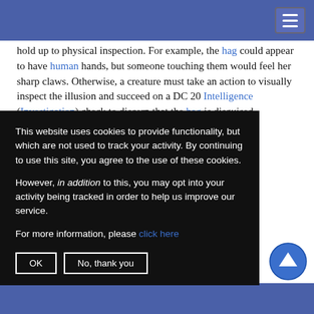[Navigation header with hamburger menu]
hold up to physical inspection. For example, the hag could appear to have human hands, but someone touching them would feel her sharp claws. Otherwise, a creature must take an action to visually inspect the illusion and succeed on a DC 20 Intelligence (Investigation) check to discern that the hag is disguised.
Innate Spellcasting. The snow hag's spellcasting ... 3, +5 to hit with ... mately cast the ... al components: ... gitation, ray of ... g cloud, sleet ...
This website uses cookies to provide functionality, but which are not used to track your activity. By continuing to use this site, you agree to the use of these cookies.

However, in addition to this, you may opt into your activity being tracked in order to help us improve our service.

For more information, please click here
Claws. Melee Weapon Attack: +3 to hit, reach 5 ft.